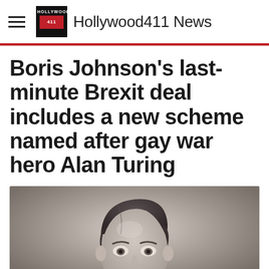Hollywood411 News
Boris Johnson's last-minute Brexit deal includes a new scheme named after gay war hero Alan Turing
[Figure (photo): Black and white portrait photograph of Alan Turing as a young man]